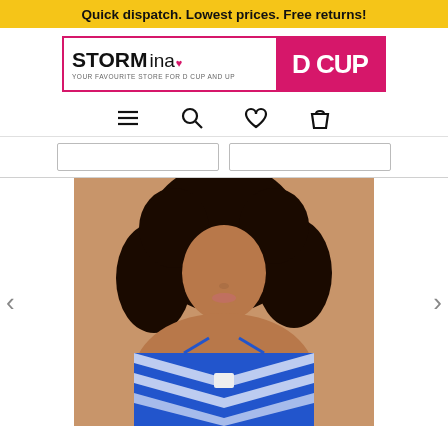Quick dispatch. Lowest prices. Free returns!
[Figure (logo): Storm in a D Cup logo — white left section with 'STORM ina' text and tagline 'YOUR FAVOURITE STORE FOR D CUP AND UP', pink right section with 'D CUP' text]
[Figure (infographic): Navigation icons: hamburger menu, search magnifier, heart/wishlist, shopping bag]
[Figure (infographic): Two filter/sort buttons below navigation]
[Figure (photo): Model wearing a blue and white chevron-striped halterneck bikini top, shown from shoulders up with curly dark hair]